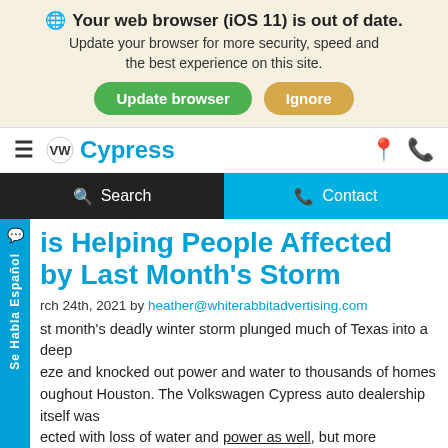Your web browser (iOS 11) is out of date. Update your browser for more security, speed and the best experience on this site. Update browser | Ignore
Cypress
Search | Contact
is Helping People Affected by Last Month's Storm
March 24th, 2021 by heather@whiterabbitadvertising.com
Last month's deadly winter storm plunged much of Texas into a deep freeze and knocked out power and water to thousands of homes throughout Houston. The Volkswagen Cypress auto dealership itself was affected with loss of water and power as well, but more importantly each employee felt it personally…
Read More